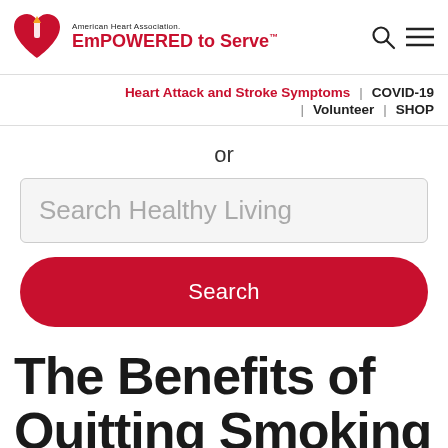[Figure (logo): American Heart Association EmPOWERED to Serve logo with red heart and torch]
Heart Attack and Stroke Symptoms | COVID-19 | Volunteer | SHOP
or
Search Healthy Living
Search
The Benefits of Quitting Smoking